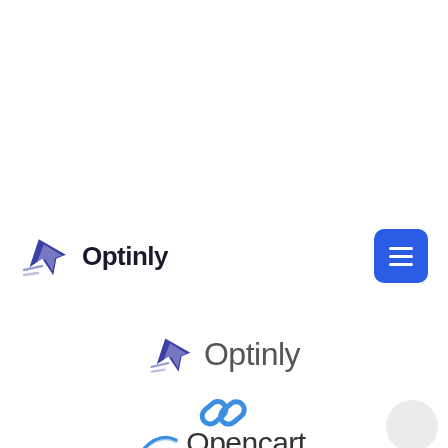[Figure (logo): Optinly logo in navigation bar: dark blue arrow/cursor icon with speed lines followed by bold dark text 'Optinly', with a blue rounded square hamburger menu button on the right]
[Figure (logo): Optinly logo centered: medium-size dark blue arrow/cursor icon with speed lines followed by gray text 'Optinly']
[Figure (logo): Blue chain link icon below the Optinly logo]
[Figure (logo): Opencart logo partially visible at bottom: blue arrow icon and text 'Opencart' in dark gray]